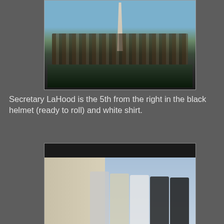[Figure (photo): Group photo of cyclists with bicycles in front of the Washington Monument on a clear day. A large group of people wearing cycling gear and helmets are posed with their bikes.]
Secretary LaHood is the 5th from the right in the black helmet (ready to roll) and white shirt.
[Figure (photo): Photo of five people standing in front of a stone monument or building against a blue sky. Some are wearing cycling gear and helmets.]